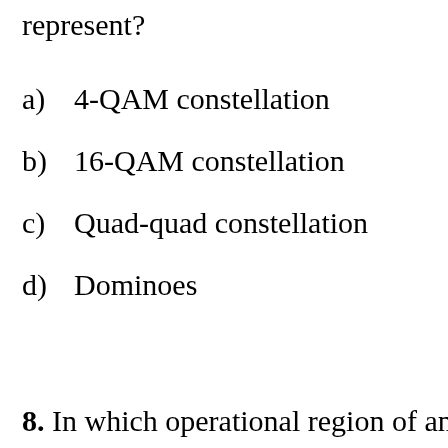represent?
a)  4-QAM constellation
b)  16-QAM constellation
c)  Quad-quad constellation
d)  Dominoes
8.  In which operational region of an a